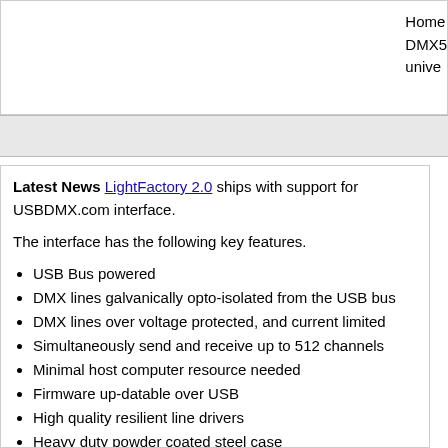Home
DMX5
unive
Latest News LightFactory 2.0 ships with support for USBDMX.com interface.
The interface has the following key features.
USB Bus powered
DMX lines galvanically opto-isolated from the USB bus
DMX lines over voltage protected, and current limited
Simultaneously send and receive up to 512 channels
Minimal host computer resource needed
Firmware up-datable over USB
High quality resilient line drivers
Heavy duty powder coated steel case
Affordable and easy to build
Compatable with all major O/S
I originally designed this interface around the begining of 2004, but due to time pressures, and that fact I work with computers all